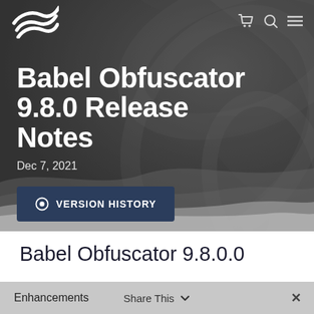[Figure (screenshot): Hero banner with abstract dark smoky background showing Babel Obfuscator release notes page header. Contains logo, navigation icons, large white title text, date, and version history button.]
Babel Obfuscator 9.8.0 Release Notes
Dec 7, 2021
VERSION HISTORY
Babel Obfuscator 9.8.0.0
Enhancements
Share This